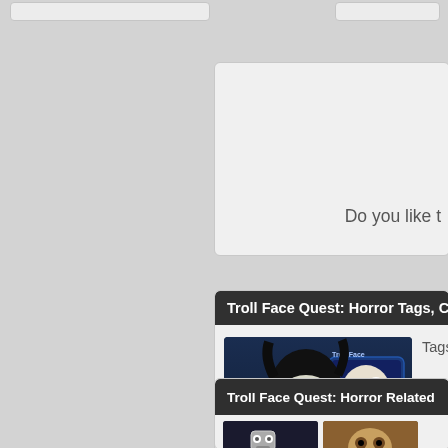Do you like t
Troll Face Quest: Horror Tags, C
[Figure (illustration): Troll Face Quest Horror game screenshot showing a creepy female troll face character with wild dark hair and glowing blue eyes, holding something, with a TV showing another monster face in the background. Text 'Troll Face HORR' visible.]
Tags:
Troll Face Quest: Horror Related
[Figure (illustration): Related game thumbnail showing a robot-like character in a space setting]
[Figure (illustration): Related game thumbnail showing an animal face]